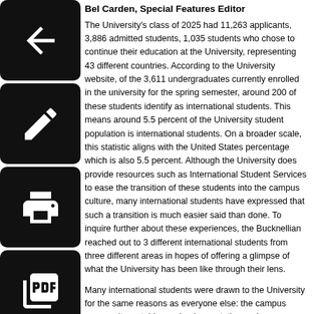Bel Carden, Special Features Editor
The University's class of 2025 had 11,263 applicants, 3,886 admitted students, 1,035 students who chose to continue their education at the University, representing 43 different countries. According to the University website, of the 3,611 undergraduates currently enrolled in the university for the spring semester, around 200 of these students identify as international students. This means around 5.5 percent of the University student population is international students. On a broader scale, this statistic aligns with the United States percentage which is also 5.5 percent. Although the University does provide resources such as International Student Services to ease the transition of these students into the campus culture, many international students have expressed that such a transition is much easier said than done. To inquire further about these experiences, the Bucknellian reached out to 3 different international students from three different areas in hopes of offering a glimpse of what the University has been like through their lens.
Many international students were drawn to the University for the same reasons as everyone else: the campus community, notable academic reputation and one-on-one faculty-student relationships which are much easier to cultivate in a smaller university environment. Simbi Maphosa '23, a student from Zimbabwe,